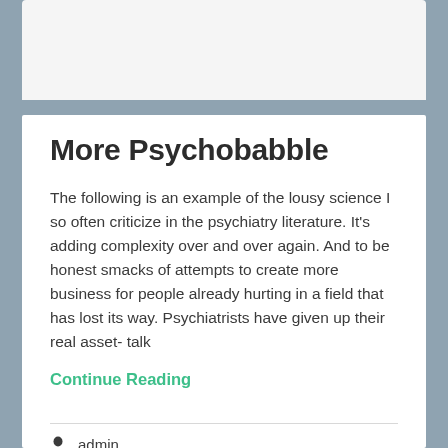More Psychobabble
The following is an example of the lousy science I so often criticize in the psychiatry literature. It's adding complexity over and over again. And to be honest smacks of attempts to create more business for people already hurting in a field that has lost its way. Psychiatrists have given up their real asset- talk
Continue Reading
admin
May 12, 2014